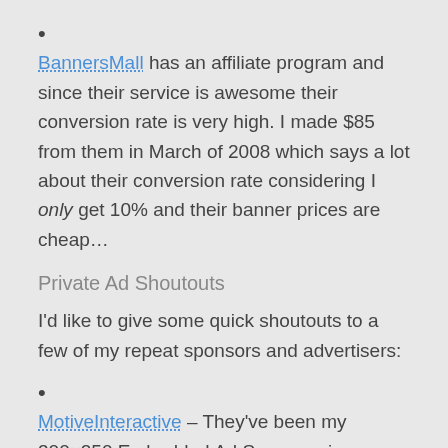•
BannersMall has an affiliate program and since their service is awesome their conversion rate is very high. I made $85 from them in March of 2008 which says a lot about their conversion rate considering I only get 10% and their banner prices are cheap…
Private Ad Shoutouts
I'd like to give some quick shoutouts to a few of my repeat sponsors and advertisers:
•
MotiveInteractive – They've been my 300×250 Embedded Ad Sponsor since March 2008 and